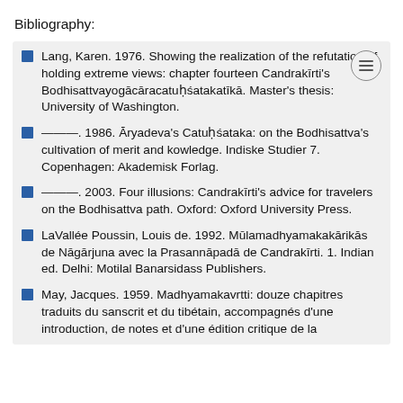Bibliography:
Lang, Karen. 1976. Showing the realization of the refutation of holding extreme views: chapter fourteen Candrakīrti's Bodhisattvayogācāracatuḥśatakatīkā. Master's thesis: University of Washington.
———. 1986. Āryadeva's Catuḥśataka: on the Bodhisattva's cultivation of merit and kowledge. Indiske Studier 7. Copenhagen: Akademisk Forlag.
———. 2003. Four illusions: Candrakīrti's advice for travelers on the Bodhisattva path. Oxford: Oxford University Press.
LaVallée Poussin, Louis de. 1992. Mūlamadhyamakakārikās de Nāgārjuna avec la Prasannāpadā de Candrakīrti. 1. Indian ed. Delhi: Motilal Banarsidass Publishers.
May, Jacques. 1959. Madhyamakavrtti: douze chapitres traduits du sanscrit et du tibétain, accompagnés d'une introduction, de notes et d'une édition critique de la